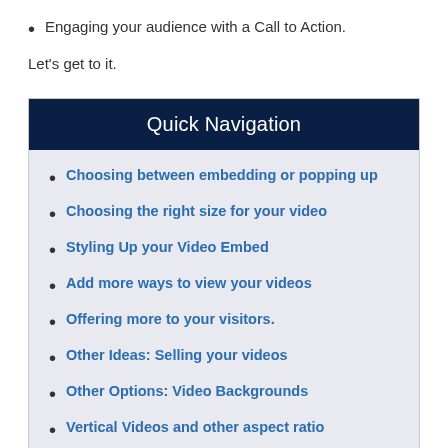Engaging your audience with a Call to Action.
Let's get to it.
Quick Navigation
Choosing between embedding or popping up
Choosing the right size for your video
Styling Up your Video Embed
Add more ways to view your videos
Offering more to your visitors.
Other Ideas: Selling your videos
Other Options: Video Backgrounds
Vertical Videos and other aspect ratio